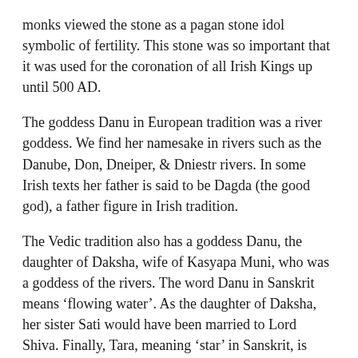monks viewed the stone as a pagan stone idol symbolic of fertility. This stone was so important that it was used for the coronation of all Irish Kings up until 500 AD.
The goddess Danu in European tradition was a river goddess. We find her namesake in rivers such as the Danube, Don, Dneiper, & Dniestr rivers. In some Irish texts her father is said to be Dagda (the good god), a father figure in Irish tradition.
The Vedic tradition also has a goddess Danu, the daughter of Daksha, wife of Kasyapa Muni, who was a goddess of the rivers. The word Danu in Sanskrit means ‘flowing water’. As the daughter of Daksha, her sister Sati would have been married to Lord Shiva. Finally, Tara, meaning ‘star’ in Sanskrit, is another name for the wife of Lord Shiva. To practitioners of Vedic tradition the Lia Fáil matches very closely to the Shiva Linga.
Eventually the Tuatha Dé Danann were defeated in battle. According to legend, they were allowed to stay in Ireland only